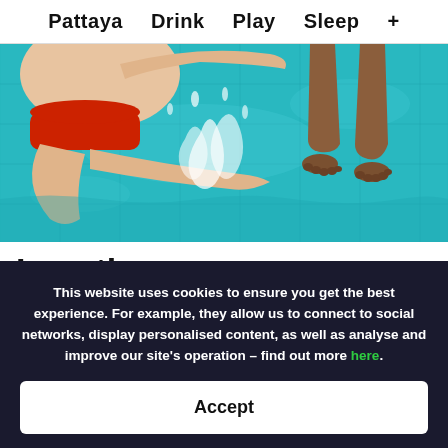Pattaya   Drink   Play   Sleep   +
[Figure (photo): Photo of people in a swimming pool with turquoise water, showing legs and splashing water, one person wearing a red swimsuit]
Location
This website uses cookies to ensure you get the best experience. For example, they allow us to connect to social networks, display personalised content, as well as analyse and improve our site's operation – find out more here.
Accept